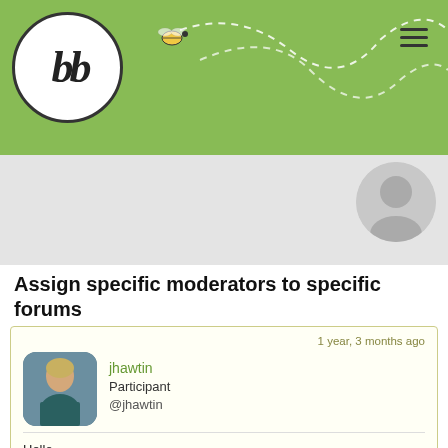[Figure (logo): bbPress logo: white circle with 'bb' in italic bold, green background header with dashed curvy lines and a bee illustration]
Assign specific moderators to specific forums
1 year, 3 months ago
jhawtin
Participant
@jhawtin
Hello,

We have three forums on our site. And we have assigned moderators for each forum. WE also require that topics be approved before appearing in the forum.

I am wondering if it is possible make it so that only the moderatos assigned to that particular forum receive notifications that new topics need to be approved. And only have access to those specific forums they